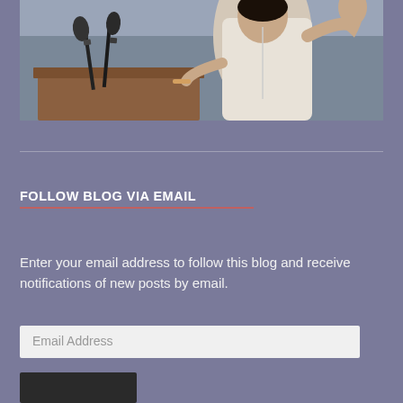[Figure (photo): A person in a white shirt speaking at a podium with microphones, gesturing with their hand. Background shows a landscape painting or window.]
FOLLOW BLOG VIA EMAIL
Enter your email address to follow this blog and receive notifications of new posts by email.